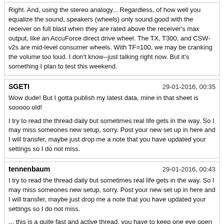Right. And, using the stereo analogy... Regardless, of how well you equalize the sound, speakers (wheels) only sound good with the receiver on full blast when they are rated above the receiver's max output, like an AccuForce direct drive wheel. The TX, T300, and CSW-v2s are mid-level consumer wheels. With TF=100, we may be cranking the volume too loud. I don't know--just talking right now. But it's something I plan to test this weekend.
SGETI
29-01-2016, 00:35
Wow dude! But I gotta publish my latest data, mine in that sheet is sooooo old!

I try to read the thread daily but sometimes real life gets in the way. So I may miss someones new setup, sorry. Post your new set up in here and I will transfer, maybe just drop me a note that you have updated your settings so I do not miss.
tennenbaum
29-01-2016, 00:43
I try to read the thread daily but sometimes real life gets in the way. So I may miss someones new setup, sorry. Post your new set up in here and I will transfer, maybe just drop me a note that you have updated your settings so I do not miss.

... this is a quite fast and active thread, you have to keep one eye open while you sleep. ( i guess this is a very german idiom ;-)
poirqc
29-01-2016, 02:01
I just want to say thanks to everyone who talked about all FFB aspect. You made me get out of my train of thoughts. All this time, i tried different angle of attacks. Some gave better results than others.

Well, i've reach the end of the road. Since patch #8, i've got to say that the Classic template, paired with a GMFFB of 100%, on the PC give a good FFB by itself! I think i'll settle for that for a long while.